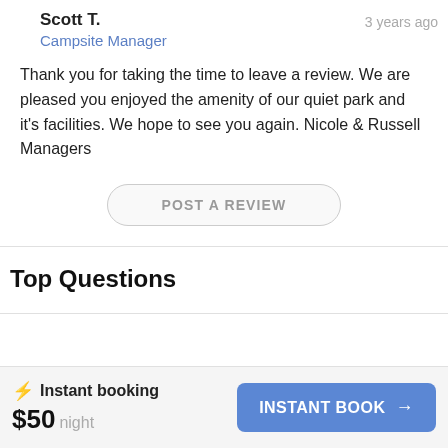Scott T.
Campsite Manager
3 years ago
Thank you for taking the time to leave a review. We are pleased you enjoyed the amenity of our quiet park and it's facilities. We hope to see you again. Nicole & Russell Managers
POST A REVIEW
Top Questions
⚡ Instant booking
$50 night
INSTANT BOOK →